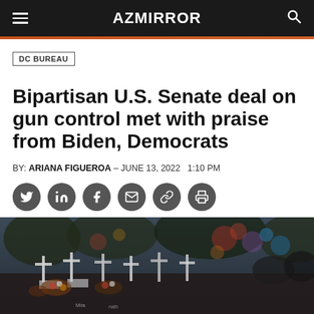AZ MIRROR
DC BUREAU
Bipartisan U.S. Senate deal on gun control met with praise from Biden, Democrats
BY: ARIANA FIGUEROA – JUNE 13, 2022  1:10 PM
[Figure (illustration): Social sharing icons: Twitter, LinkedIn, Facebook, Email, Link, Print]
[Figure (photo): Outdoor memorial scene with white crosses and flowers, flowers, balloons and tributes — appearing to be a shooting memorial site. Crowd visible in soft-focus background.]